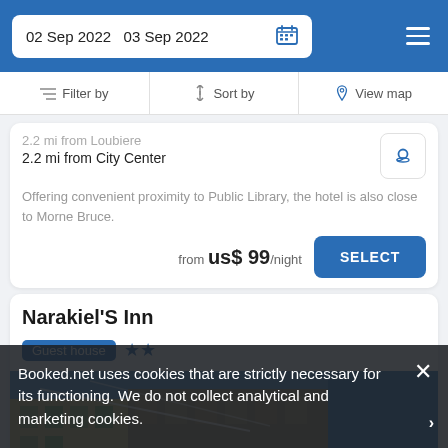02 Sep 2022  03 Sep 2022
Filter by  Sort by  View map
2.2 mi from Loubiere
2.2 mi from City Center
Offering convenient proximity to Public Library, the hotel is also close to Morne Bruce.
from US$ 99/night
SELECT
Narakiel'S Inn
Guest house ★★
[Figure (photo): Exterior photo of Narakiel's Inn building]
Booked.net uses cookies that are strictly necessary for its functioning. We do not collect analytical and marketing cookies.